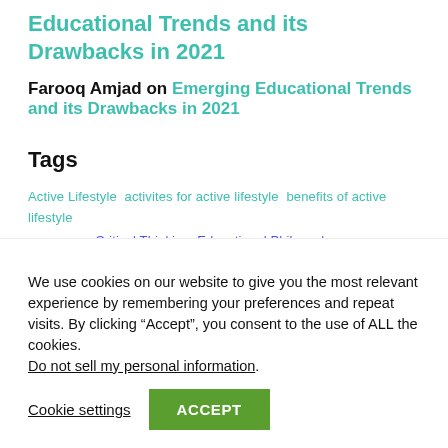Educational Trends and its Drawbacks in 2021
Farooq Amjad on Emerging Educational Trends and its Drawbacks in 2021
Tags
Active Lifestyle  activites for active lifestyle  benefits of active lifestyle
We use cookies on our website to give you the most relevant experience by remembering your preferences and repeat visits. By clicking “Accept”, you consent to the use of ALL the cookies. Do not sell my personal information.
Cookie settings  ACCEPT